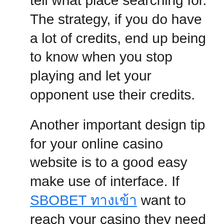There is usually a leader board so you can tell what place searching for. The strategy, if you do have a lot of credits, end up being to know when you stop playing and let your opponent use their credits.
Another important design tip for your online casino website is to a good easy make use of interface. If SBOBET ทางเข้า want to reach your casino they need to be that can navigate easily and not need to look around for what they already want. Nobody wants to spend free time looking for the best online casino game. Instead, they want it to be obvious and navigable. If you are this essential then your website will gain in popularity with prospects.